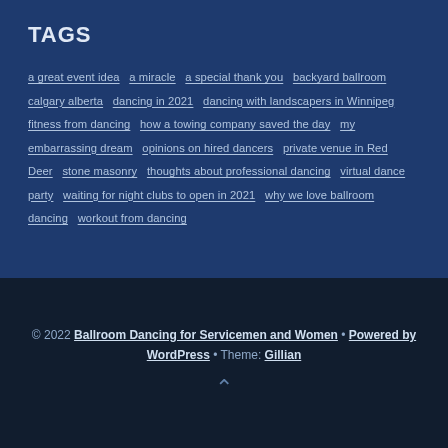TAGS
a great event idea
a miracle
a special thank you
backyard ballroom
calgary alberta
dancing in 2021
dancing with landscapers in Winnipeg
fitness from dancing
how a towing company saved the day
my embarrassing dream
opinions on hired dancers
private venue in Red Deer
stone masonry
thoughts about professional dancing
virtual dance party
waiting for night clubs to open in 2021
why we love ballroom dancing
workout from dancing
© 2022 Ballroom Dancing for Servicemen and Women • Powered by WordPress • Theme: Gillian